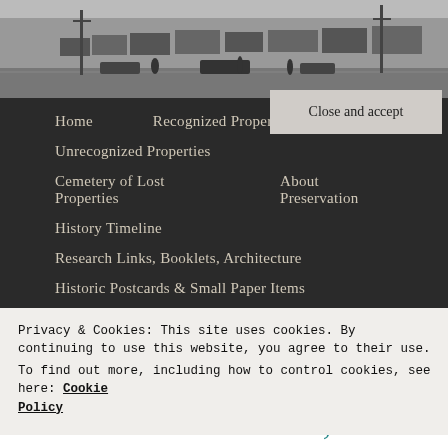[Figure (photo): Black and white historical street scene showing storefronts with awnings and old vehicles on a city street]
Home
Recognized Properties
Unrecognized Properties
Cemetery of Lost Properties
About Preservation
History Timeline
Research Links, Booklets, Architecture
Historic Postcards & Small Paper Items
Privacy & Cookies: This site uses cookies. By continuing to use this website, you agree to their use.
To find out more, including how to control cookies, see here: Cookie Policy
Close and accept
Hometown Architect,